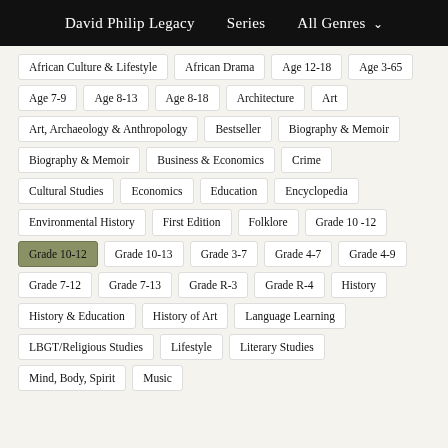David Philip Legacy   Series   All Genres
African Culture & Lifestyle
African Drama
Age 12-18
Age 3-65
Age 7-9
Age 8-13
Age 8-18
Architecture
Art
Art, Archaeology & Anthropology
Bestseller
Biography & Memoir
Biography & Memoir
Business & Economics
Crime
Cultural Studies
Economics
Education
Encyclopedia
Environmental History
First Edition
Folklore
Grade 10 -12
Grade 10-12 (active)
Grade 10-13
Grade 3-7
Grade 4-7
Grade 4-9
Grade 7-12
Grade 7-13
Grade R-3
Grade R-4
History
History & Education
History of Art
Language Learning
LBGT/Religious Studies
Lifestyle
Literary Studies
Mind, Body, Spirit
Music